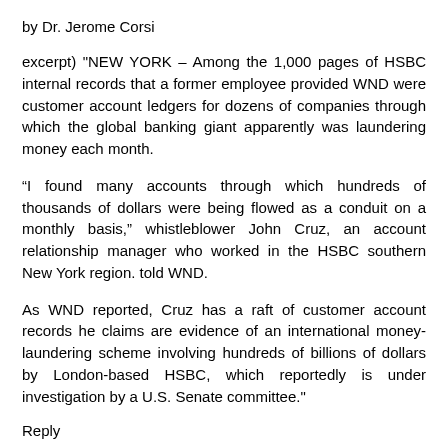by Dr. Jerome Corsi
excerpt) "NEW YORK – Among the 1,000 pages of HSBC internal records that a former employee provided WND were customer account ledgers for dozens of companies through which the global banking giant apparently was laundering money each month.
“I found many accounts through which hundreds of thousands of dollars were being flowed as a conduit on a monthly basis,” whistleblower John Cruz, an account relationship manager who worked in the HSBC southern New York region. told WND.
As WND reported, Cruz has a raft of customer account records he claims are evidence of an international money-laundering scheme involving hundreds of billions of dollars by London-based HSBC, which reportedly is under investigation by a U.S. Senate committee."
Reply